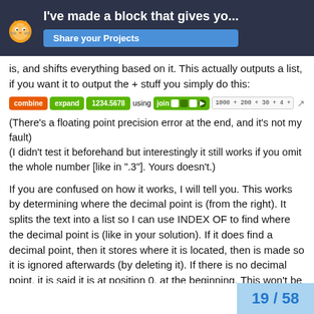I've made a block that gives yo... | Share your Projects
is, and shifts everything based on it. This actually outputs a list, if you want it to output the + stuff you simply do this:
[Figure (screenshot): Scratch block showing: combine expand 1234.5678 using join [slots] with output: 1000 + 200 + 30 + 4 + 0.5 + 0.06 + 0.007 + 0.00079999999999...]
(There's a floating point precision error at the end, and it's not my fault)
(I didn't test it beforehand but interestingly it still works if you omit the whole number [like in ".3"]. Yours doesn't.)
If you are confused on how it works, I will tell you. This works by determining where the decimal point is (from the right). It splits the text into a list so I can use INDEX OF to find where the decimal point is (like in your solution). If it does find a decimal point, then it stores where it is located, then is made so it is ignored afterwards (by deleting it). If there is no decimal point, it is said it is at position 0, at the beginning. This won't be a problem because then the number would b... "253.", which is the same thing as "253". T...
19 / 58